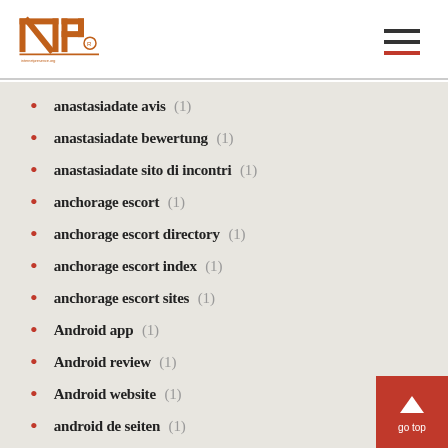INP logo and navigation
anastasiadate avis (1)
anastasiadate bewertung (1)
anastasiadate sito di incontri (1)
anchorage escort (1)
anchorage escort directory (1)
anchorage escort index (1)
anchorage escort sites (1)
Android app (1)
Android review (1)
Android website (1)
android de seiten (1)